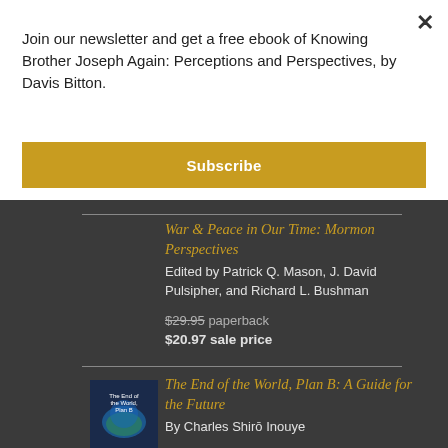Join our newsletter and get a free ebook of Knowing Brother Joseph Again: Perceptions and Perspectives, by Davis Bitton.
Subscribe
War & Peace in Our Time: Mormon Perspectives
Edited by Patrick Q. Mason, J. David Pulsipher, and Richard L. Bushman
$29.95 paperback
$20.97 sale price
The End of the World, Plan B: A Guide for the Future
By Charles Shirō Inouye